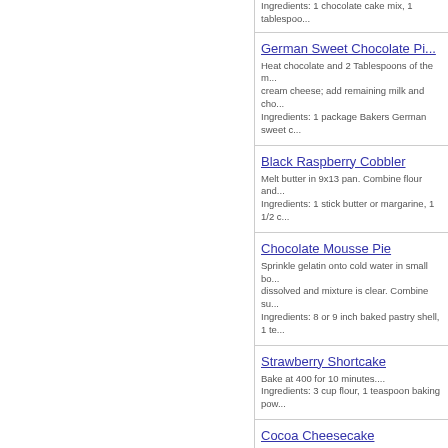Ingredients: 1 chocolate cake mix, 1 tablespoo...
German Sweet Chocolate Pi... Heat chocolate and 2 Tablespoons of the m... cream cheese; add remaining milk and cho... Ingredients: 1 package Bakers German sweet c...
Black Raspberry Cobbler Melt butter in 9x13 pan. Combine flour and... Ingredients: 1 stick butter or margarine, 1 1/2 c...
Chocolate Mousse Pie Sprinkle gelatin onto cold water in small bo... dissolved and mixture is clear. Combine su... Ingredients: 8 or 9 inch baked pastry shell, 1 te...
Strawberry Shortcake Bake at 400 for 10 minutes.... Ingredients: 3 cup flour, 1 teaspoon baking pow...
Cocoa Cheesecake Prepare graham crust; set aside. Beat crea... light and fluffy. Add eggs; blend well. Pout i... Ingredients: Graham Crust, 2 packages cream c...
Taco Soup Salads - simmer together over crushed corn chips, s... Ingredients: 1 lb hamburger - fried with onions,...
Cocoa Cheesecake Graham...